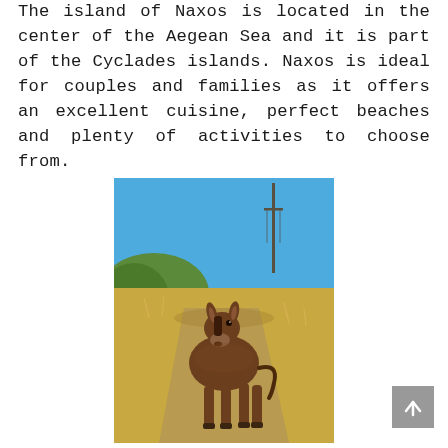The island of Naxos is located in the center of the Aegean Sea and it is part of the Cyclades islands. Naxos is ideal for couples and families as it offers an excellent cuisine, perfect beaches and plenty of activities to choose from.
[Figure (photo): A brown donkey standing on a dry dirt path in a sunny landscape with dry yellow grass, green trees in the background, a wooden utility pole, and a clear blue sky. The photo is taken on the island of Naxos, Greece.]